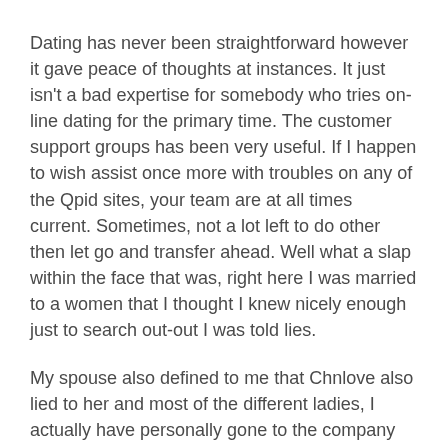Dating has never been straightforward however it gave peace of thoughts at instances. It just isn't a bad expertise for somebody who tries on-line dating for the primary time. The customer support groups has been very useful. If I happen to wish assist once more with troubles on any of the Qpid sites, your team are at all times current. Sometimes, not a lot left to do other then let go and transfer ahead. Well what a slap within the face that was, right here I was married to a women that I thought I knew nicely enough just to search out-out I was told lies.
My spouse also defined to me that Chnlove also lied to her and most of the different ladies, I actually have personally gone to the company and